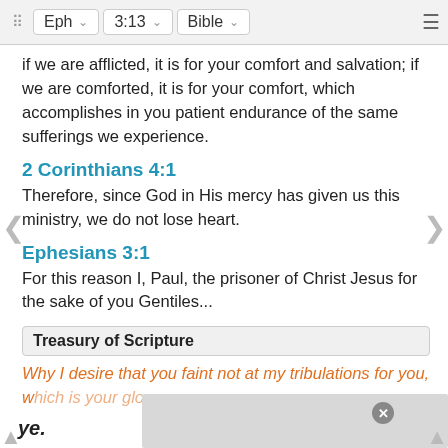⠿  Eph  ∨   3:13  ∨   Bible  ∨  ≡
if we are afflicted, it is for your comfort and salvation; if we are comforted, it is for your comfort, which accomplishes in you patient endurance of the same sufferings we experience.
2 Corinthians 4:1
Therefore, since God in His mercy has given us this ministry, we do not lose heart.
Ephesians 3:1
For this reason I, Paul, the prisoner of Christ Jesus for the sake of you Gentiles...
Treasury of Scripture
Why I desire that you faint not at my tribulations for you, which is your glory.
ye.